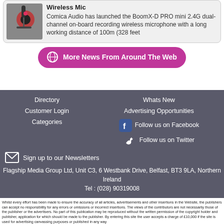[Figure (photo): Product photo of a wireless microphone on a camera rig with red accents]
Wireless Mic
Comica Audio has launched the BoomX-D PRO mini 2.4G dual-channel on-board recording wireless microphone with a long working distance of 100m (328 feet
More News From Around The Web
Directory
Customer Login
Categories
Whats New
Advertising Opportunities
Follow us on Facebook
Follow us on Twitter
Sign up to our Newsletters
Flagship Media Group Ltd, Unit C3, 6 Westbank Drive, Belfast, BT3 9LA, Northern Ireland
Tel : (028) 90319008
Whilst every effort has been made to ensure the accuracy of all articles, advertisements and other insertions in the Website, the publishers can accept no responsibility for any errors or omissions or incorrect insertions. The views of the contributors are not necessarily those of the publisher or the advertisers. No part of this publication may be reproduced without the written permission of the copyright holder and publisher, application for which should be made to the publisher. By entering this site the user accepts a charge of £10,000 if the site is used for advertising canvassing purposes or published in any way